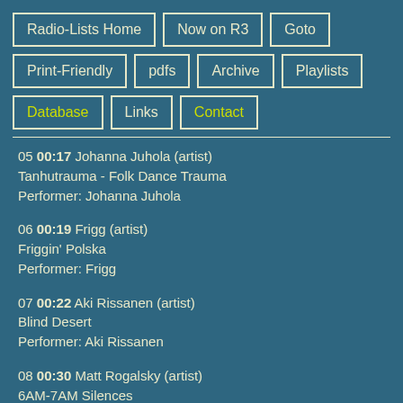Radio-Lists Home
Now on R3
Goto
Print-Friendly
pdfs
Archive
Playlists
Database
Links
Contact
05 00:17 Johanna Juhola (artist)
Tanhutrauma - Folk Dance Trauma
Performer: Johanna Juhola
06 00:19 Frigg (artist)
Friggin' Polska
Performer: Frigg
07 00:22 Aki Rissanen (artist)
Blind Desert
Performer: Aki Rissanen
08 00:30 Matt Rogalsky (artist)
6AM-7AM Silences
Performer: Matt Rogalsky